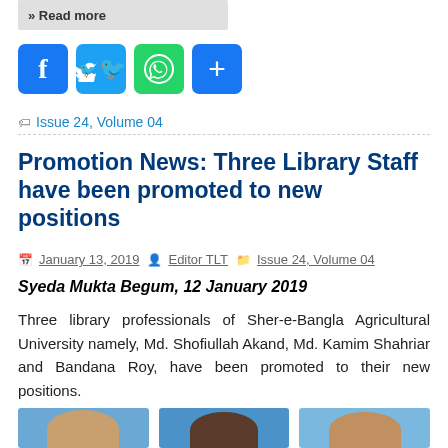[Figure (other): Read more button/bar in grey]
[Figure (infographic): Social media sharing icons: Facebook (blue f), Twitter (blue bird), WhatsApp (green phone), share (blue plus)]
Issue 24, Volume 04
Promotion News: Three Library Staff have been promoted to new positions
January 13, 2019   Editor TLT   Issue 24, Volume 04
Syeda Mukta Begum, 12 January 2019
Three library professionals of Sher-e-Bangla Agricultural University namely, Md. Shofiullah Akand, Md. Kamim Shahriar and Bandana Roy, have been promoted to their new positions.
[Figure (photo): Three portrait photos of library staff partially visible at bottom of page]